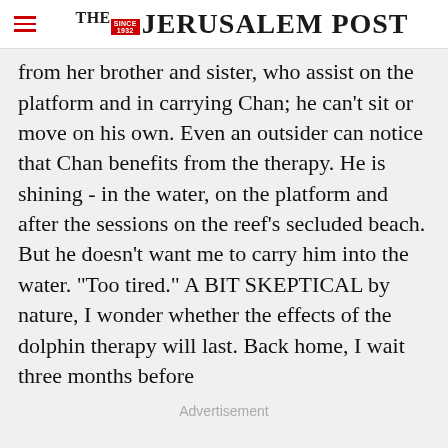THE JERUSALEM POST
from her brother and sister, who assist on the platform and in carrying Chan; he can't sit or move on his own. Even an outsider can notice that Chan benefits from the therapy. He is shining - in the water, on the platform and after the sessions on the reef's secluded beach. But he doesn't want me to carry him into the water. "Too tired." A BIT SKEPTICAL by nature, I wonder whether the effects of the dolphin therapy will last. Back home, I wait three months before
Advertisement